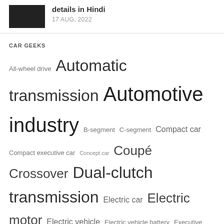[Figure (photo): Small thumbnail of a dark car]
details in Hindi
17 AUG, 2022
CAR GEEKS
All-wheel drive Automatic transmission Automotive industry B-segment C-segment Compact car Compact executive car Concept car Coupé Crossover Dual-clutch transmission Electric car Electric motor Electric vehicle Electric vehicle battery Executive car four-wheel-drive layout Four-wheel drive Front-engine front-wheel-drive layout Full-size car Government of India Grand tourer Hatchback Lithium-ion battery Longitudinal engine Luxury vehicle Manual transmission Mid-size car Pickup truck rear-wheel-drive layout Rear mid-engine S-